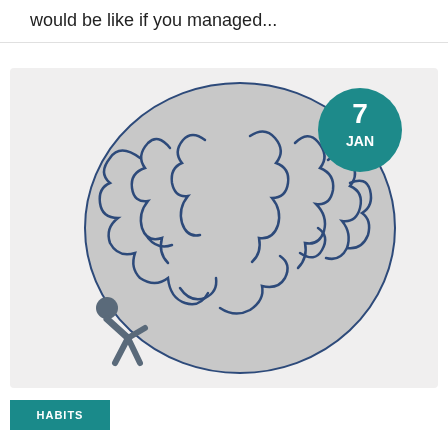would be like if you managed...
[Figure (illustration): A stick figure person pushing a large brain illustration. A teal circular badge in the top right reads '7 JAN'.]
HABITS